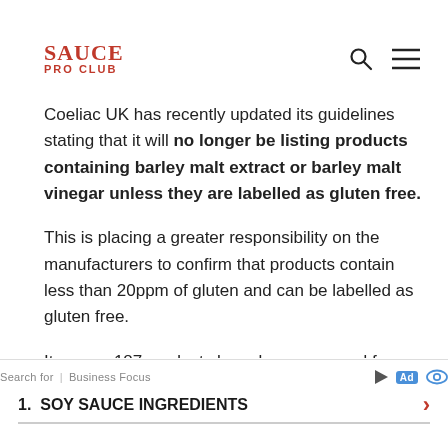SAUCE PRO CLUB
Why Is Some Barley Malt Vinegar No Longer Gluten Free
Coeliac UK has recently updated its guidelines stating that it will no longer be listing products containing barley malt extract or barley malt vinegar unless they are labelled as gluten free.
This is placing a greater responsibility on the manufacturers to confirm that products contain less than 20ppm of gluten and can be labelled as gluten free.
It means 187 products have been removed from Coeliac UK’s ‘safe’ list – including Branston Pickle, Lea and Perrins and Sarson’s Malt Vinegar.
Search for | Business Focus  Ad  1. SOY SAUCE INGREDIENTS